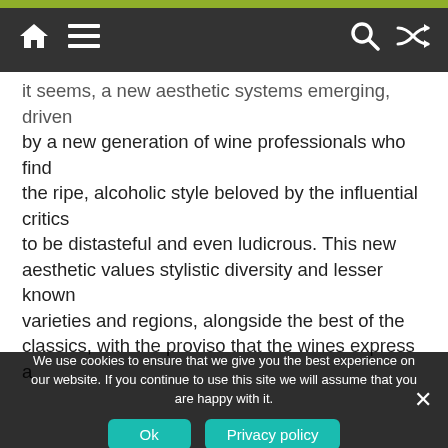Navigation bar with home, menu, search, and shuffle icons
it seems, a new aesthetic systems emerging, driven by a new generation of wine professionals who find the ripe, alcoholic style beloved by the influential critics to be distasteful and even ludicrous. This new aesthetic values stylistic diversity and lesser known varieties and regions, alongside the best of the classics, with the proviso that the wines express a sense of place. Picking late is an enemy of this terroir expression. What we are witnessing with the contentious nature of IPOB is explainable as a clash between competing aesthetic systems. They are different, and perhaps in this case more different than
We use cookies to ensure that we give you the best experience on our website. If you continue to use this site we will assume that you are happy with it.
Ok  Privacy policy